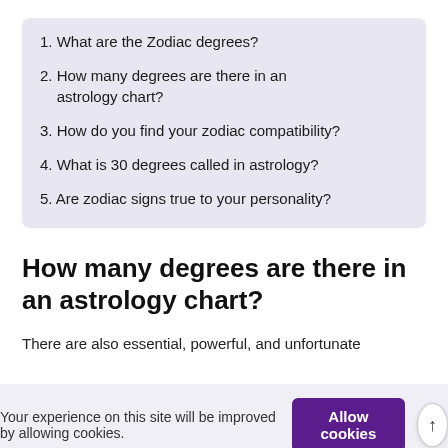1. What are the Zodiac degrees?
2. How many degrees are there in an astrology chart?
3. How do you find your zodiac compatibility?
4. What is 30 degrees called in astrology?
5. Are zodiac signs true to your personality?
How many degrees are there in an astrology chart?
There are also essential, powerful, and unfortunate
Your experience on this site will be improved by allowing cookies.